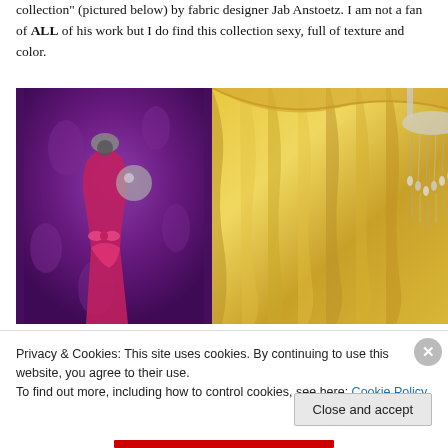collection" (pictured below) by fabric designer Jab Anstoetz. I am not a fan of ALL of his work but I do find this collection sexy, full of texture and color.
[Figure (photo): Two-panel composite photo: left panel shows a woman in a pink gown against rich purple damask fabric/curtains; right panel shows luxurious golden/yellow draped fabric curtains with a crystal chandelier in the upper right corner.]
Privacy & Cookies: This site uses cookies. By continuing to use this website, you agree to their use.
To find out more, including how to control cookies, see here: Cookie Policy
Close and accept